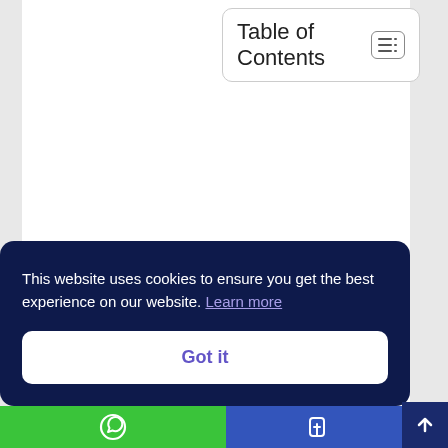Table of Contents
This website uses cookies to ensure you get the best experience on our website. Learn more
Got it